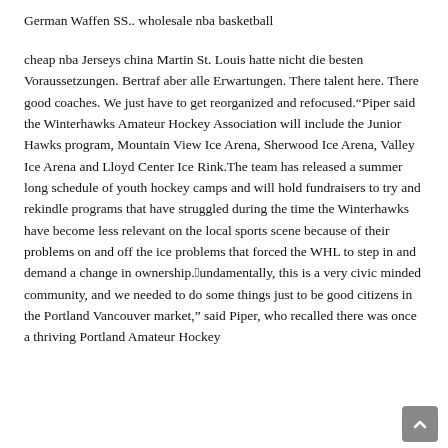German Waffen SS.. wholesale nba basketball
cheap nba Jerseys china Martin St. Louis hatte nicht die besten Voraussetzungen. Bertraf aber alle Erwartungen. There talent here. There good coaches. We just have to get reorganized and refocused.“Piper said the Winterhawks Amateur Hockey Association will include the Junior Hawks program, Mountain View Ice Arena, Sherwood Ice Arena, Valley Ice Arena and Lloyd Center Ice Rink.The team has released a summer long schedule of youth hockey camps and will hold fundraisers to try and rekindle programs that have struggled during the time the Winterhawks have become less relevant on the local sports scene because of their problems on and off the ice problems that forced the WHL to step in and demand a change in ownership.“Fundamentally, this is a very civic minded community, and we needed to do some things just to be good citizens in the Portland Vancouver market,” said Piper, who recalled there was once a thriving Portland Amateur Hockey